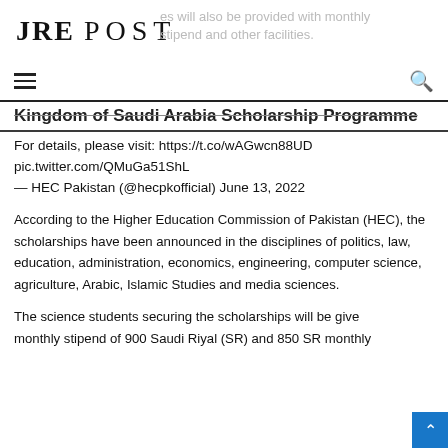JRE POST
es will also be provided with monthly stipend and other facilities.
Kingdom of Saudi Arabia Scholarship Programme
For details, please visit: https://t.co/wAGwcn88UD pic.twitter.com/QMuGa51ShL — HEC Pakistan (@hecpkofficial) June 13, 2022
According to the Higher Education Commission of Pakistan (HEC), the scholarships have been announced in the disciplines of politics, law, education, administration, economics, engineering, computer science, agriculture, Arabic, Islamic Studies and media sciences.
The science students securing the scholarships will be given a monthly stipend of 900 Saudi Riyal (SR) and 850 SR monthly